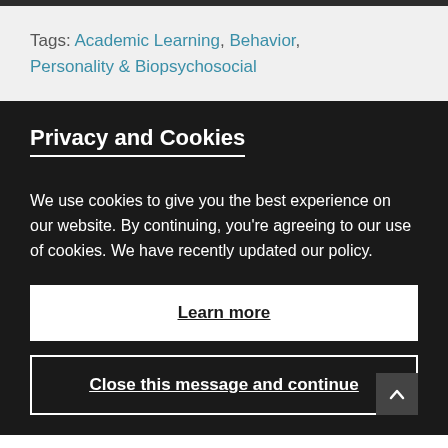Tags: Academic Learning, Behavior, Personality & Biopsychosocial
Privacy and Cookies
We use cookies to give you the best experience on our website. By continuing, you're agreeing to our use of cookies. We have recently updated our policy.
Learn more
Close this message and continue